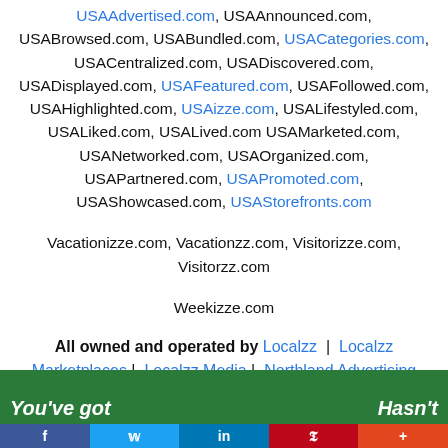USAAdvertised.com, USAAnnounced.com, USABrowsed.com, USABundled.com, USACategories.com, USACentralized.com, USADiscovered.com, USADisplayed.com, USAFeatured.com, USAFollowed.com, USAHighlighted.com, USAizze.com, USALifestyled.com, USALiked.com, USALived.com, USAMarketed.com, USANetworked.com, USAOrganized.com, USAPartnered.com, USAPromoted.com, USAShowcased.com, USAStorefronts.com
Vacationizze.com, Vacationzz.com, Visitorizze.com, Visitorzz.com
Weekizze.com
All owned and operated by Localzz | Localzz Marketplaces | Localzz Media | Northland Advertising LLC
[Figure (photo): Advertisement banner with green background showing two people and white italic text 'You've got' on left and 'Hasn't' on right]
[Figure (infographic): Social media sharing bar with Facebook (blue), Twitter (light blue), LinkedIn (dark blue), Pinterest (red), and More (orange-red) buttons]